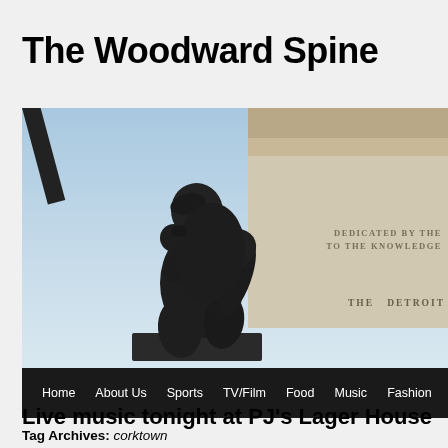The Woodward Spine
[Figure (photo): A bronze statue of The Thinker by Rodin in front of the Detroit Institute of Arts building. The neoclassical building has text reading 'DEDICATED BY THE' and 'TO THE KNOWLEDGE' and 'THE DETROIT'. Navigation bar at bottom with links: Home, About Us, Sports, TV/Film, Food, Music, Fashion.]
Tag Archives: corktown
Live music tonight at PJ's Lager House